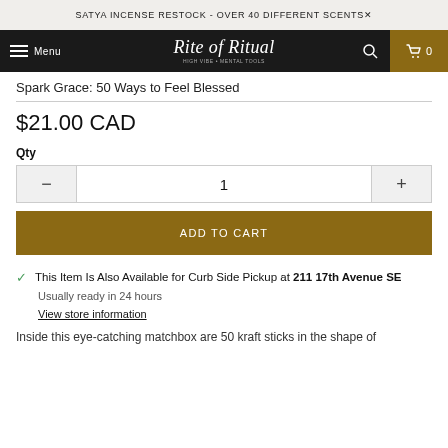SATYA INCENSE RESTOCK - OVER 40 DIFFERENT SCENTS
[Figure (screenshot): Navigation bar with hamburger menu, 'Rite of Ritual' script logo, search icon, and cart icon with 0 items]
Spark Grace: 50 Ways to Feel Blessed
$21.00 CAD
Qty
1
ADD TO CART
This Item Is Also Available for Curb Side Pickup at 211 17th Avenue SE
Usually ready in 24 hours
View store information
Inside this eye-catching matchbox are 50 kraft sticks in the shape of